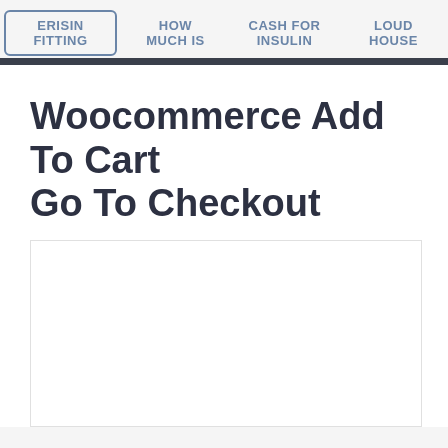ERISIN FITTING  HOW MUCH IS  CASH FOR INSULIN  LOUD HOUSE
Woocommerce Add To Cart Go To Checkout
[Figure (other): Empty white content placeholder box below the title]